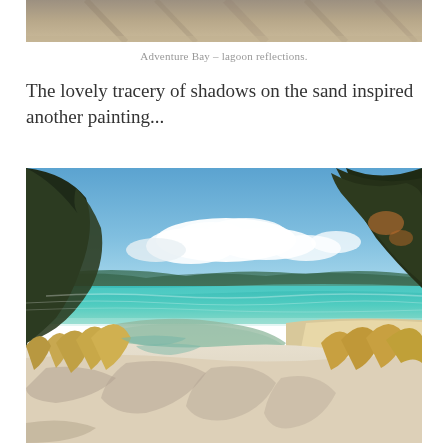[Figure (photo): Top portion of a photo showing sandy ground with shadows, cropped at top of page — Adventure Bay lagoon area.]
Adventure Bay – lagoon reflections.
The lovely tracery of shadows on the sand inspired another painting...
[Figure (photo): A realistic painting of a tropical lagoon scene with white sand, turquoise water, trees framing the view, blue sky with clouds, and shadows cast across the sand in the foreground.]